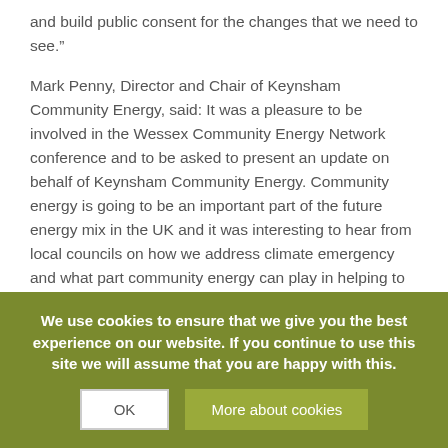and build public consent for the changes that we need to see."
Mark Penny, Director and Chair of Keynsham Community Energy, said: It was a pleasure to be involved in the Wessex Community Energy Network conference and to be asked to present an update on behalf of Keynsham Community Energy. Community energy is going to be an important part of the future energy mix in the UK and it was interesting to hear from local councils on how we address climate emergency and what part community energy can play in helping to achieve these goals. Looking forward to attending future events on community energy and working alongside Bath & North East Somerset for a more sustainable future.
Examples of how community energy projects are working in our local area include Oxford Dorset, Frome, Stroud, Wiltshire, Bristol, South
We use cookies to ensure that we give you the best experience on our website. If you continue to use this site we will assume that you are happy with this.